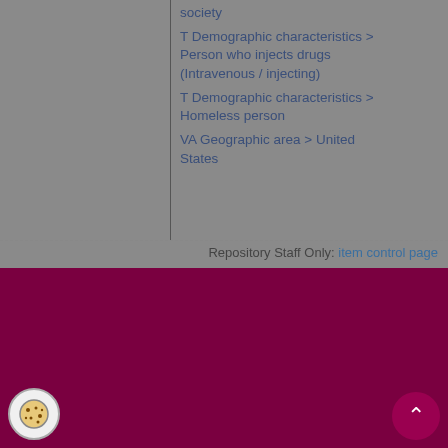society
T Demographic characteristics > Person who injects drugs (Intravenous / injecting)
T Demographic characteristics > Homeless person
VA Geographic area > United States
Repository Staff Only: item control page
About Us
Read more about what we can do for you ....